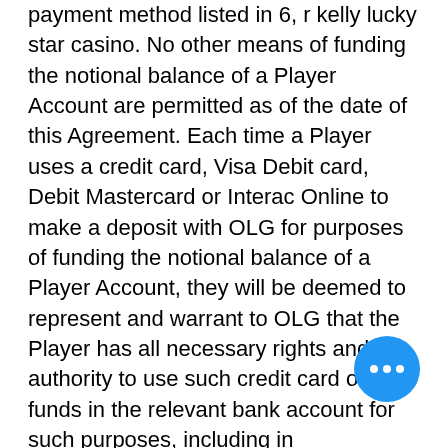payment method listed in 6, r kelly lucky star casino. No other means of funding the notional balance of a Player Account are permitted as of the date of this Agreement. Each time a Player uses a credit card, Visa Debit card, Debit Mastercard or Interac Online to make a deposit with OLG for purposes of funding the notional balance of a Player Account, they will be deemed to represent and warrant to OLG that the Player has all necessary rights and authority to use such credit card or the funds in the relevant bank account for such purposes, including in circumstances in which the credit card or bank account is jointly held with one or more other persons or is held by a person other than the Player. OLG will hold a Player's monies that are deposited with OLG for purposes of funding the notional balance of a Player Account in a bank account or escrow